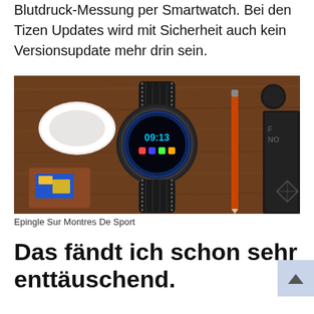Funktionen wie EKG und sogar von Apple eine Blutdruck-Messung per Smartwatch. Bei den Tizen Updates wird mit Sicherheit auch kein Versionsupdate mehr drin sein.
[Figure (photo): A Samsung smartwatch with black leather strap laying on a wooden surface surrounded by AirPods case, a wallet with cards, an orange pencil, and a dark notebook. The watch face shows 09:13.]
Epingle Sur Montres De Sport
Das fändt ich schon sehr enttäuschend.